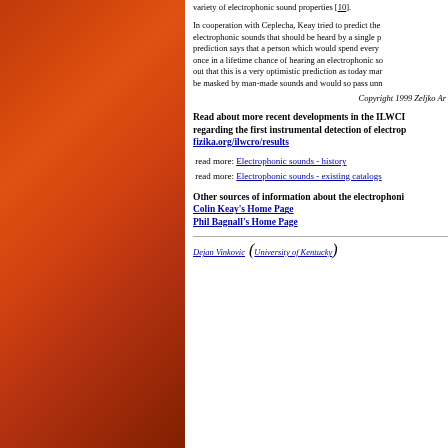variety of electrophonic sound properties [10].
In cooperation with Ceplecha, Keay tried to predict the electrophonic sounds that should be heard by a single p... prediction says that a person which would spend every once in a lifetime chance of hearing an electrophonic so... out that this is a very optimistic prediction as today man... be masked by man-made sounds and would so pass unn...
Copyright 1999 Zeljko Ar...
Read about more recent developments in the ILWCI regarding the first instrumental detection of electrop fizika.org/ilwcro/results
read more: Electrophonic sounds - history
read more: Electrophonic sounds - existing catalogs
Other sources of information about the electrophoni Colin Keay's Home Page Phil Bagnall's Home Page
Dejan Vinkovic (University of Kentucky)